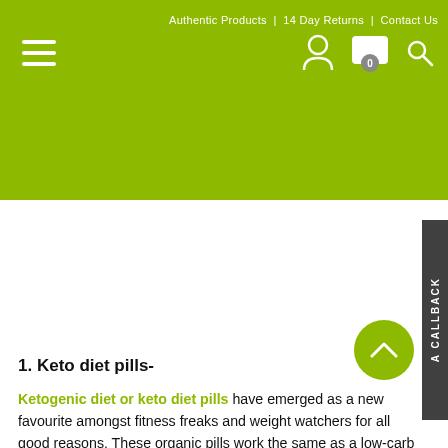Authentic Products | 14 Day Returns | Contact Us
[Figure (screenshot): Green navigation bar with hamburger menu icon on left, person icon, shopping cart with badge '0', and search icon on right]
1. Keto diet pills-
Ketogenic diet or keto diet pills have emerged as a new favourite amongst fitness freaks and weight watchers for all good reasons. These organic pills work the same as a low-carb and high-fat diet does to push your body to enter a state of ketosis. It is a metabolic state in which the levels of body glucose falls to significantly low levels and it starts searching for an alternative source of energy to fuel the brain and other